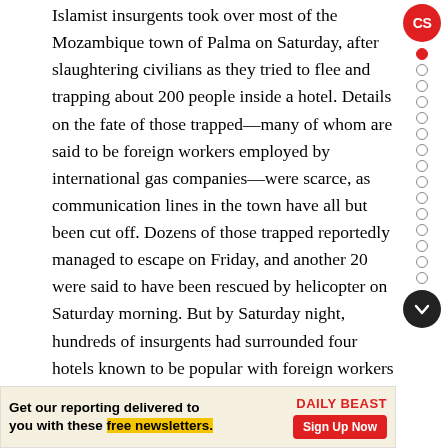Islamist insurgents took over most of the Mozambique town of Palma on Saturday, after slaughtering civilians as they tried to flee and trapping about 200 people inside a hotel. Details on the fate of those trapped—many of whom are said to be foreign workers employed by international gas companies—were scarce, as communication lines in the town have all but been cut off. Dozens of those trapped reportedly managed to escape on Friday, and another 20 were said to have been rescued by helicopter on Saturday morning. But by Saturday night, hundreds of insurgents had surrounded four hotels known to be popular with foreign workers involved in work on liquefied natural gas projects in the area, according to The New York Times. The siege of the town first began on Wednesday, when about 100 insurg- though
[Figure (other): Sidebar with CS circular badge (red), a vertical list of navigation dots (one filled red, rest empty circles), and a dark circular down-arrow button]
[Figure (other): Advertisement banner: 'Get our reporting delivered to you with these free newsletters.' with Daily Beast logo and Sign Up Now button]